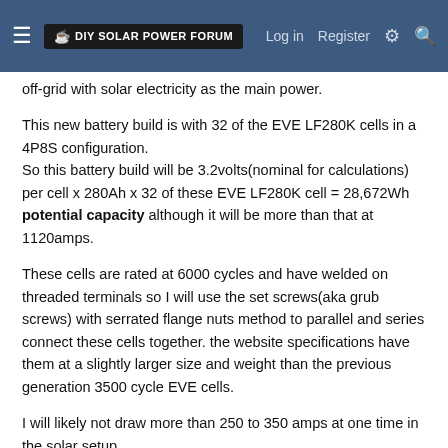DIY Solar Power Forum | Log in | Register
off-grid with solar electricity as the main power.
This new battery build is with 32 of the EVE LF280K cells in a 4P8S configuration.
So this battery build will be 3.2volts(nominal for calculations) per cell x 280Ah x 32 of these EVE LF280K cell = 28,672Wh potential capacity although it will be more than that at 1120amps.
These cells are rated at 6000 cycles and have welded on threaded terminals so I will use the set screws(aka grub screws) with serrated flange nuts method to parallel and series connect these cells together. the website specifications have them at a slightly larger size and weight than the previous generation 3500 cycle EVE cells.
I will likely not draw more than 250 to 350 amps at one time in the solar setup.